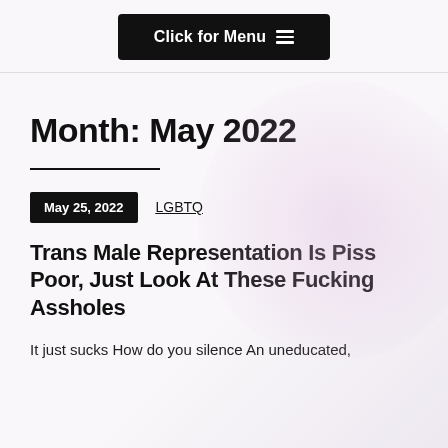Click for Menu
Month: May 2022
May 25, 2022   LGBTQ
Trans Male Representation Is Piss Poor, Just Look At These Fucking Assholes
It just sucks How do you silence An uneducated,